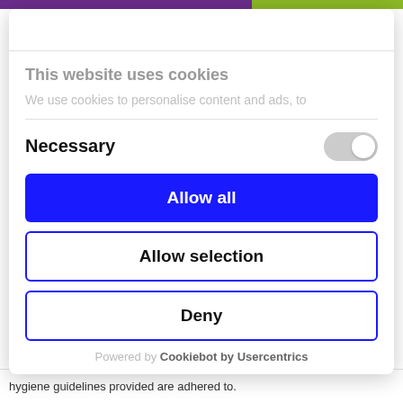[Figure (screenshot): Cookie consent modal dialog over a website background with purple and green top bars. Modal contains title 'This website uses cookies', description text, Necessary toggle, and three buttons: Allow all, Allow selection, Deny.]
This website uses cookies
We use cookies to personalise content and ads, to
Necessary
Allow all
Allow selection
Deny
Powered by Cookiebot by Usercentrics
hygiene guidelines provided are adhered to.